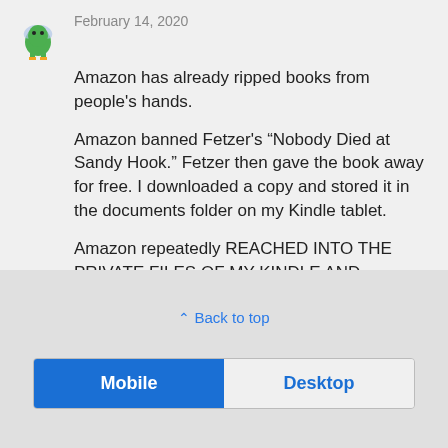February 14, 2020
Amazon has already ripped books from people’s hands.
Amazon banned Fetzer’s “Nobody Died at Sandy Hook.” Fetzer then gave the book away for free. I downloaded a copy and stored it in the documents folder on my Kindle tablet.
Amazon repeatedly REACHED INTO THE PRIVATE FILES OF MY KINDLE AND DELETED A BOOK THAT I DID NOT BUY FROM THEM!
⌃ Back to top
Mobile  Desktop